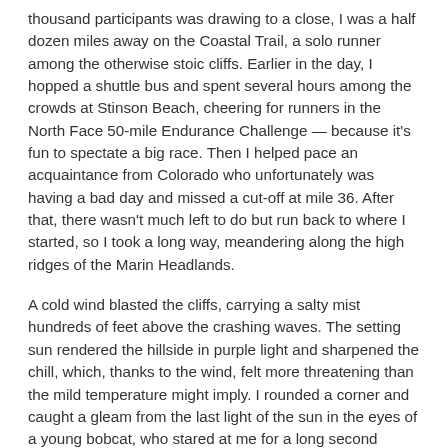thousand participants was drawing to a close, I was a half dozen miles away on the Coastal Trail, a solo runner among the otherwise stoic cliffs. Earlier in the day, I hopped a shuttle bus and spent several hours among the crowds at Stinson Beach, cheering for runners in the North Face 50-mile Endurance Challenge — because it's fun to spectate a big race. Then I helped pace an acquaintance from Colorado who unfortunately was having a bad day and missed a cut-off at mile 36. After that, there wasn't much left to do but run back to where I started, so I took a long way, meandering along the high ridges of the Marin Headlands.
A cold wind blasted the cliffs, carrying a salty mist hundreds of feet above the crashing waves. The setting sun rendered the hillside in purple light and sharpened the chill, which, thanks to the wind, felt more threatening than the mild temperature might imply. I rounded a corner and caught a gleam from the last light of the sun in the eyes of a young bobcat, who stared at me for a long second before turning around and sauntering down the trail. Bobcat was running but with no real urgency, its long legs and big paws stirring a fine layer of dust that had been kicked up by hundreds of